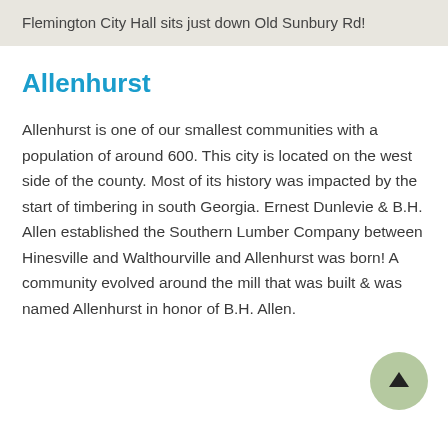Flemington City Hall sits just down Old Sunbury Rd!
Allenhurst
Allenhurst is one of our smallest communities with a population of around 600. This city is located on the west side of the county. Most of its history was impacted by the start of timbering in south Georgia. Ernest Dunlevie & B.H. Allen established the Southern Lumber Company between Hinesville and Walthourville and Allenhurst was born! A community evolved around the mill that was built & was named Allenhurst in honor of B.H. Allen.